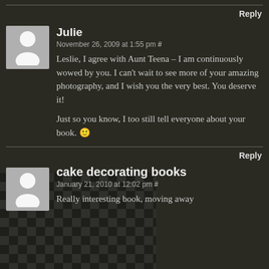Reply
Julie
November 26, 2009 at 1:55 pm #
Leslie, I agree with Aunt Teena – I am continuously wowed by you. I can't wait to see more of your amazing photography, and I wish you the very best. You deserve it!

Just so you know, I too still tell everyone about your book. 🙂
Reply
cake decorating books
January 21, 2010 at 12:02 pm #
Really interesting book, moving away